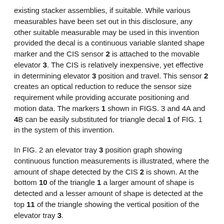existing stacker assemblies, if suitable. While various measurables have been set out in this disclosure, any other suitable measurable may be used in this invention provided the decal is a continuous variable slanted shape marker and the CIS sensor 2 is attached to the movable elevator 3. The CIS is relatively inexpensive, yet effective in determining elevator 3 position and travel. This sensor 2 creates an optical reduction to reduce the sensor size requirement while providing accurate positioning and motion data. The markers 1 shown in FIGS. 3 and 4A and 4B can be easily substituted for triangle decal 1 of FIG. 1 in the system of this invention.
In FIG. 2 an elevator tray 3 position graph showing continuous function measurements is illustrated, where the amount of shape detected by the CIS 2 is shown. At the bottom 10 of the triangle 1 a larger amount of shape is detected and a lesser amount of shape is detected at the top 11 of the triangle showing the vertical position of the elevator tray 3.
In FIG. 3 a triangle 1 with pixels as the measurables is illustrated. In this example (or FIG. 1) pixel (0.042 mm)